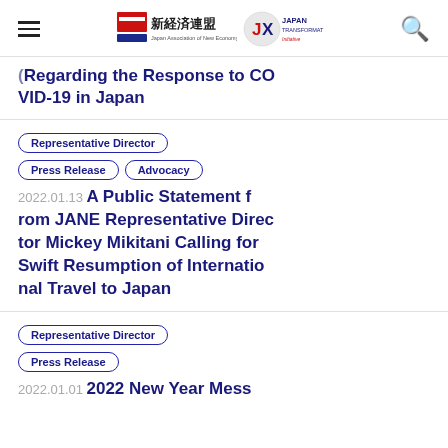新経済連盟 Japan Association of New Economy | JAPAN TRANSFORMATION
(regarding the Response to COVID-19 in Japan
Representative Director | Press Release | Advocacy
2022.01.13  A Public Statement from JANE Representative Director Mickey Mikitani Calling for Swift Resumption of International Travel to Japan
Representative Director | Press Release
2022.01.01  2022 New Year Mess